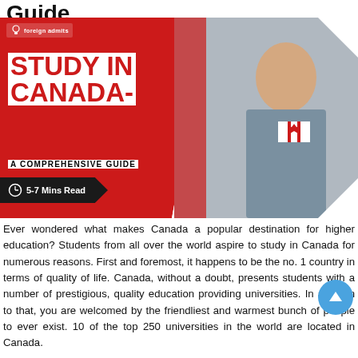Guide
[Figure (infographic): Study in Canada - A Comprehensive Guide banner with red background, logo, student photo holding Canadian flag, and reading time indicator]
Ever wondered what makes Canada a popular destination for higher education? Students from all over the world aspire to study in Canada for numerous reasons. First and foremost, it happens to be the no. 1 country in terms of quality of life. Canada, without a doubt, presents students with a number of prestigious, quality education providing universities. In addition to that, you are welcomed by the friendliest and warmest bunch of people to ever exist. 10 of the top 250 universities in the world are located in Canada.